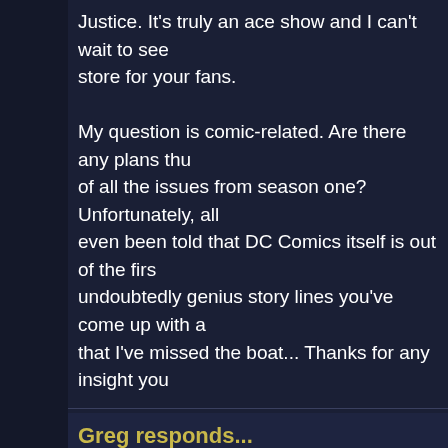Justice. It's truly an ace show and I can't wait to see store for your fans.
My question is comic-related. Are there any plans thu of all the issues from season one? Unfortunately, all even been told that DC Comics itself is out of the firs undoubtedly genius story lines you've come up with a that I've missed the boat... Thanks for any insight you
Greg responds...
Um... we're talking the YJ comic, correct?
The answer is, yes, I believe DC is releasing trades o
Question receive
Jack-Pumpkinhead writes...
Hi Greg, just wanted to send in myu review of "Alpha
Wow, that was a great episode! That was sincerely th